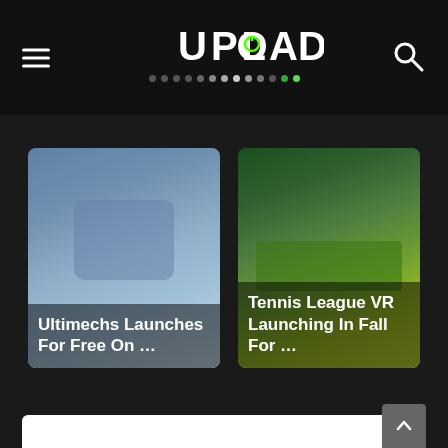Upload VR - header with logo, hamburger menu, and search icon
[Figure (screenshot): Card thumbnail: Ultimechs Launches For Free On ... - sci-fi robots on blue background]
Ultimechs Launches For Free On ...
[Figure (screenshot): Card thumbnail: Tennis League VR Launching In Fall For ... - tennis stadium green field]
Tennis League VR Launching In Fall For ...
[Figure (other): White advertisement/content block below the article cards]